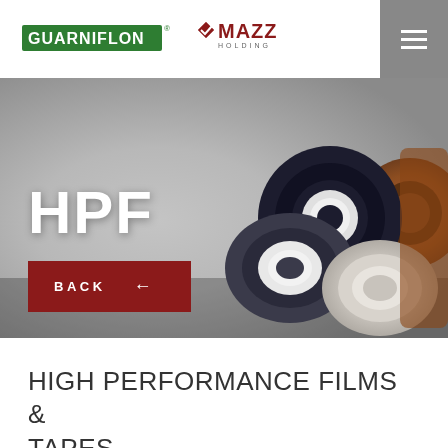[Figure (logo): Guarniflon green logo with registered trademark symbol and Mazza Holding red diamond logo]
[Figure (photo): Hero banner showing multiple rolls of high performance films and tapes (black, white, beige/tan colors) arranged on a gray surface, with HPF title overlay and BACK button]
HIGH PERFORMANCE FILMS & TAPES